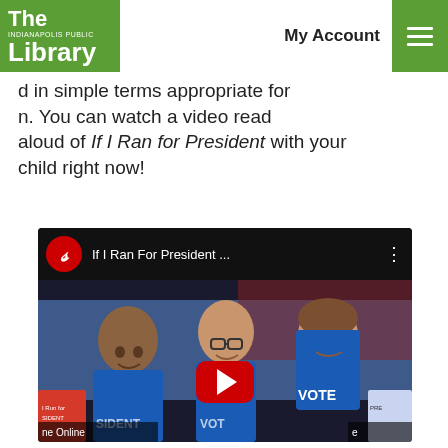The Indianapolis Public Library | My Account
d in simple terms appropriate for n. You can watch a video read aloud of If I Ran for President with your child right now!
[Figure (screenshot): YouTube video embed thumbnail showing three smiling children wearing blue VOTE t-shirts, with YouTube play button overlay. Video title: 'If I Ran For President ...' with a red circular YouTube channel logo.]